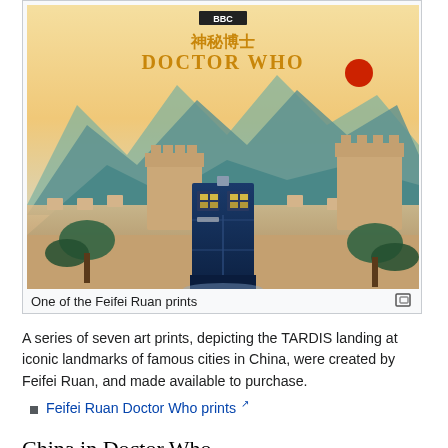[Figure (illustration): A stylized Chinese woodblock-print style illustration showing the Great Wall of China with mountains in the background, and the TARDIS (blue police box) in the foreground. Text at top reads BBC logo, Chinese characters 神秘博士, and 'DOCTOR WHO' in golden letters. A red sun is visible in the upper right.]
One of the Feifei Ruan prints
A series of seven art prints, depicting the TARDIS landing at iconic landmarks of famous cities in China, were created by Feifei Ruan, and made available to purchase.
Feifei Ruan Doctor Who prints
China in Doctor Who
Marco Polo is set in China